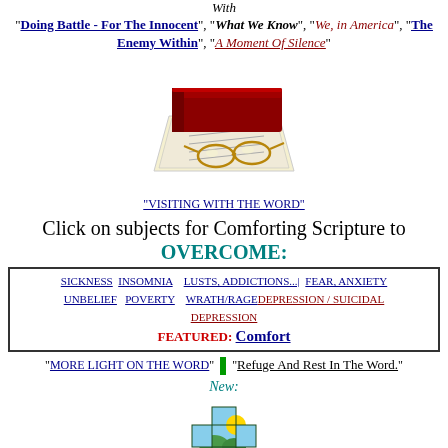With
"Doing Battle - For The Innocent", "What We Know", "We, in America", "The Enemy Within", "A Moment Of Silence"
[Figure (illustration): Book with papers and eyeglasses illustration]
"VISITING WITH THE WORD"
Click on subjects for Comforting Scripture to OVERCOME:
| SICKNESS INSOMNIA   LUSTS, ADDICTIONS...|   FEAR, ANXIETY | UNBELIEF   POVERTY   WRATH/RAGEDEPRESSION / SUICIDAL DEPRESSION | FEATURED: Comfort |
"MORE LIGHT ON THE WORD" | " Refuge And Rest In The Word. "
New:
[Figure (illustration): Cross with landscape illustration - green and sky colors]
"OPPORTUNITY"
I Peter 1:3
Blessed Be The GOD and FATHER, of our LORD Jesus Christ, which according to His abundant Mercy has Begotten us again unto a lively hope